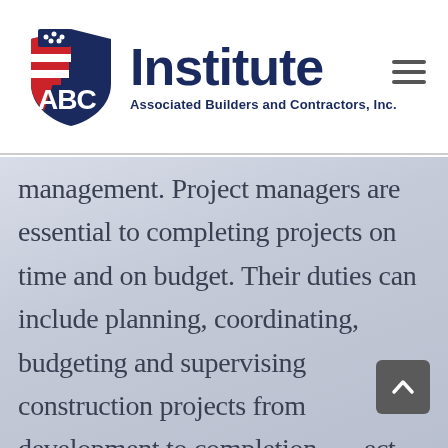[Figure (logo): ABC Institute logo — Associated Builders and Contractors, Inc. with American flag shield emblem and dark navy text]
management. Project managers are essential to completing projects on time and on budget. Their duties can include planning, coordinating, budgeting and supervising construction projects from development to completion. Project managers usually spend most of their